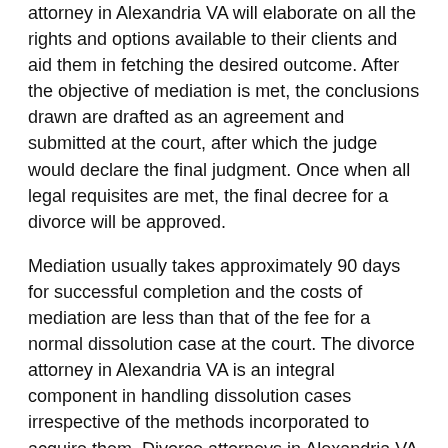attorney in Alexandria VA will elaborate on all the rights and options available to their clients and aid them in fetching the desired outcome. After the objective of mediation is met, the conclusions drawn are drafted as an agreement and submitted at the court, after which the judge would declare the final judgment. Once when all legal requisites are met, the final decree for a divorce will be approved.
Mediation usually takes approximately 90 days for successful completion and the costs of mediation are less than that of the fee for a normal dissolution case at the court. The divorce attorney in Alexandria VA is an integral component in handling dissolution cases irrespective of the methods incorporated to acquire them. Divorce attorneys in Alexandria VA aid in smooth navigation through all the court procedures.
WHY DO YOU NEED A DIVORCE ATTORNEY IN ALEXANDRIA VA?
Couples seeking a divorce in Alexandria will have to ensure all matters regarding their separation are settled before the